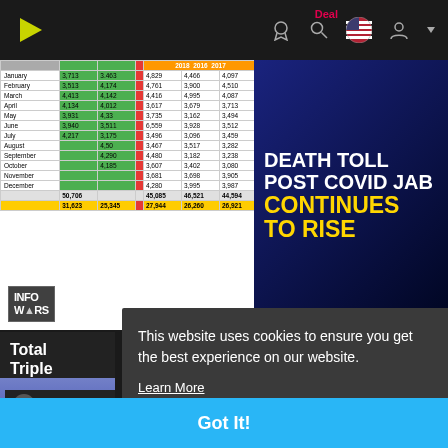InfoWars website navigation bar with logo, Deal label, and icons
[Figure (screenshot): Video thumbnail showing a data table on the left with monthly statistics colored green, red, and orange, overlaid with text 'DEATH TOLL POST COVID JAB CONTINUES TO RISE' on a dark blue background, with InfoWars logo badge in bottom left.]
Total... Triple...
This website uses cookies to ensure you get the best experience on our website. Learn More
Got It!